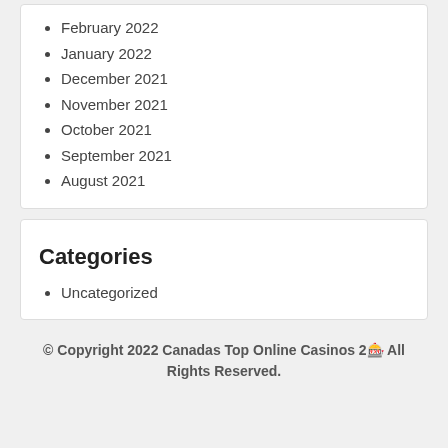February 2022
January 2022
December 2021
November 2021
October 2021
September 2021
August 2021
Categories
Uncategorized
© Copyright 2022 Canadas Top Online Casinos 2🎰 All Rights Reserved.